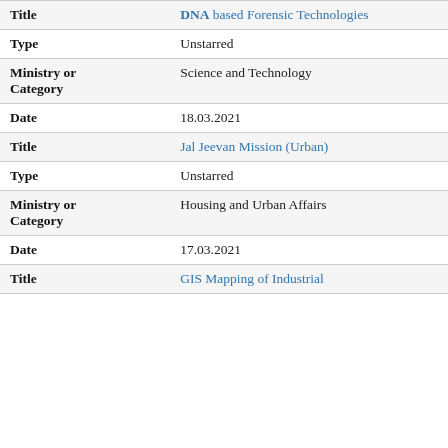| Field | Value |
| --- | --- |
| Title | DNA based Forensic Technologies |
| Type | Unstarred |
| Ministry or Category | Science and Technology |
| Date | 18.03.2021 |
| Title | Jal Jeevan Mission (Urban) |
| Type | Unstarred |
| Ministry or Category | Housing and Urban Affairs |
| Date | 17.03.2021 |
| Title | GIS Mapping of Industrial... |